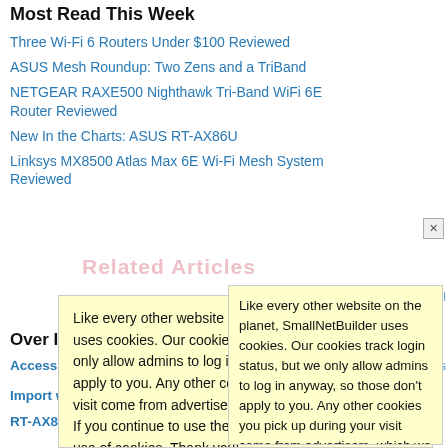Most Read This Week
Three Wi-Fi 6 Routers Under $100 Reviewed
ASUS Mesh Roundup: Two Zens and a TriBand
NETGEAR RAXE500 Nighthawk Tri-Band WiFi 6E Router Reviewed
New In the Charts: ASUS RT-AX86U
Linksys MX8500 Atlas Max 6E Wi-Fi Mesh System Reviewed
Over In T…
Access po… Wireless
Import wi…
RT-AX82U…
nslookup… an IPv6, it will be i… Routers
RT-AX82U… errors … point
[Figure (screenshot): Cookie consent popup overlay with light yellow background. Text reads: Like every other website on the planet, SmallNetBuilder uses cookies. Our cookies track login status, but we only allow admins to log in anyway, so those don't apply to you. Any other cookies you pick up during your visit come from advertisers, which we don't control. If you continue to use the site, you agree to tolerate our use of cookies. Thank you!]
Related Articles watermark text visible behind popup